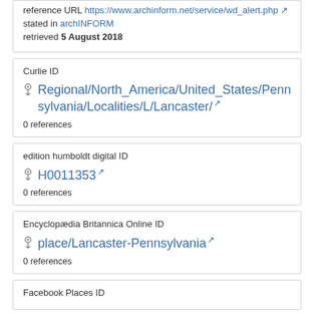reference URL https://www.archinform.net/service/wd_alert.php
stated in archINFORM
retrieved 5 August 2018
Curlie ID
Regional/North_America/United_States/Pennsylvania/Localities/L/Lancaster/
0 references
edition humboldt digital ID
H0011353
0 references
Encyclopædia Britannica Online ID
place/Lancaster-Pennsylvania
0 references
Facebook Places ID